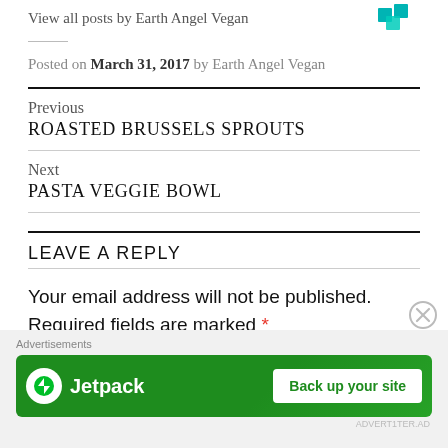View all posts by Earth Angel Vegan
Posted on March 31, 2017 by Earth Angel Vegan
Previous
ROASTED BRUSSELS SPROUTS
Next
PASTA VEGGIE BOWL
LEAVE A REPLY
Your email address will not be published. Required fields are marked *
[Figure (advertisement): Jetpack advertisement banner with 'Back up your site' button on green background]